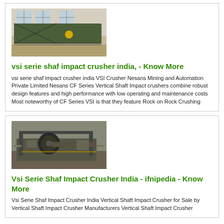[Figure (photo): Industrial machine/equipment photo showing a large green metallic structure in a workshop or factory environment with windows in background]
vsi serie shaf impact crusher india, - Know More
vsi serie shaf impact crusher india VSI Crusher Nesans Mining and Automation Private Limited Nesans CF Series Vertical Shaft Impact crushers combine robust design features and high performance with low operating and maintenance costs Most noteworthy of CF Series VSI is that they feature Rock on Rock Crushing
[Figure (photo): Industrial crushing/mining machine equipment photo in a factory setting, showing large mechanical equipment with a dark spherical component]
Vsi Serie Shaf Impact Crusher India - ifnipedia - Know More
Vsi Serie Shaf Impact Crusher India Vertical Shaft Impact Crusher for Sale by Vertical Shaft Impact Crusher Manufacturers Vertical Shaft Impact Crusher